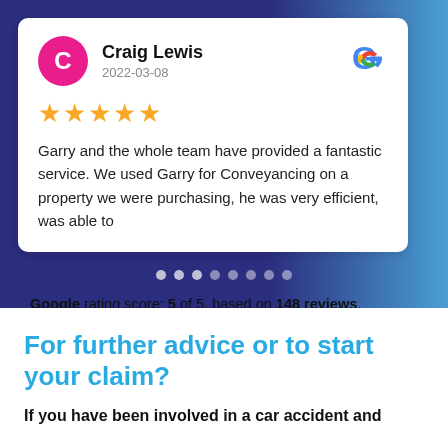[Figure (screenshot): Google review card showing reviewer Craig Lewis, dated 2022-03-08, with 5 stars and review text about Garry and the whole team providing a fantastic service for Conveyancing.]
Google rating score: 5 of 5, based on 148 reviews.
For further advice or to start your claim?
If you have been involved in a car accident and